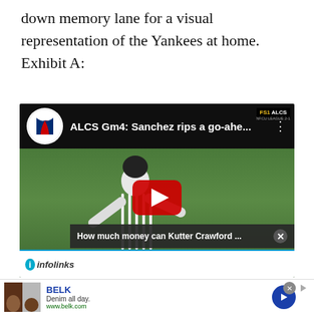down memory lane for a visual representation of the Yankees at home. Exhibit A:
[Figure (screenshot): YouTube video embed showing 'ALCS Gm4: Sanchez rips a go-ahe...' with MLB logo, a baseball player in Yankees pinstripes celebrating, FS1 ALCS badge in top right, red YouTube play button overlay, a notification popup reading 'How much money can Kutter Crawford ...' with an X close button, and an infolinks bar at the bottom]
[Figure (screenshot): Advertisement for BELK showing 'Denim all day. www.belk.com' with thumbnail images of people in denim and a blue arrow button]